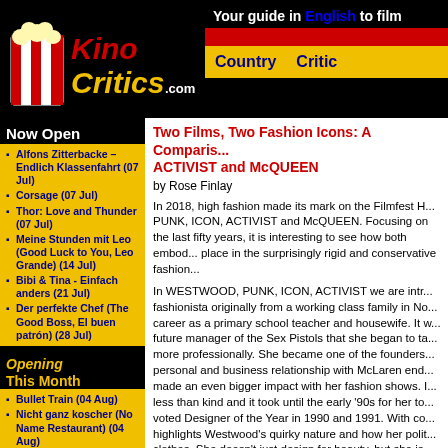[Figure (logo): KinoCritics.com logo with popcorn bucket graphic on black background]
Your guide in English to film
Country   Critic
Now Open
Alfons Zitterbacke – Endlich Klassenfahrt (07 Jul)
Corsage (07 Jul)
Thor: Love and Thunder (07 Jul)
Meine Stunden mit Leo (Good Luck to You, Leo Grande) (14 Jul)
Bibi & Tina - Einfach anders (21 Jul)
Der perfekte Chef (The Good Boss, El buen patrón) (28 Jul)
Opening This Month
Bullet Train (04 Aug)
Nicht ganz koscher (No Name Restaurant) (04 Aug)
Warten auf Bojangles (Waiting for Bojangles, En attendant Bojangles) (04 Aug)
Alcarràs - Die letzte Ernte (Alcarràs) (11 Aug)
Two Films, Two Fashion Icons: A Comparison of ACTIVIST and McQUEEN
by Rose Finlay
In 2018, high fashion made its mark on the Filmfest H... PUNK, ICON, ACTIVIST and McQUEEN. Focusing on the last fifty years, it is interesting to see how both embod... place in the surprisingly rigid and conservative fashion...
In WESTWOOD, PUNK, ICON, ACTIVIST we are intr... fashionista originally from a working class family in No... career as a primary school teacher and housewife. It w... future manager of the Sex Pistols that she began to ta... more professionally. She became one of the founders... personal and business relationship with McLaren end... made an even bigger impact with her fashion shows. I... less than kind and it took until the early '90s for her to... voted Designer of the Year in 1990 and 1991. With co... highlights Westwood's quirky nature and how her polit... clothes. She doesn't just design for beauty, but she is... statement. Tucker focuses throughout the documenta... herself and her clothes curiously come in second to h... Nevertheless, the insight into the woman behind the fa... at her creative process makes this a worthwhile film...